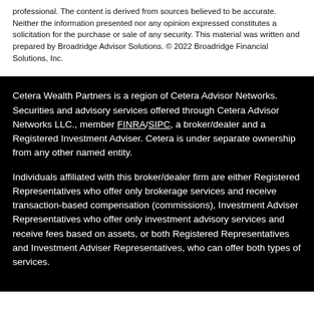professional. The content is derived from sources believed to be accurate. Neither the information presented nor any opinion expressed constitutes a solicitation for the purchase or sale of any security. This material was written and prepared by Broadridge Advisor Solutions. © 2022 Broadridge Financial Solutions, Inc.
Cetera Wealth Partners is a region of Cetera Advisor Networks. Securities and advisory services offered through Cetera Advisor Networks LLC., member FINRA/SIPC, a broker/dealer and a Registered Investment Adviser. Cetera is under separate ownership from any other named entity.
Individuals affiliated with this broker/dealer firm are either Registered Representatives who offer only brokerage services and receive transaction-based compensation (commissions), Investment Adviser Representatives who offer only investment advisory services and receive fees based on assets, or both Registered Representatives and Investment Adviser Representatives, who can offer both types of services.